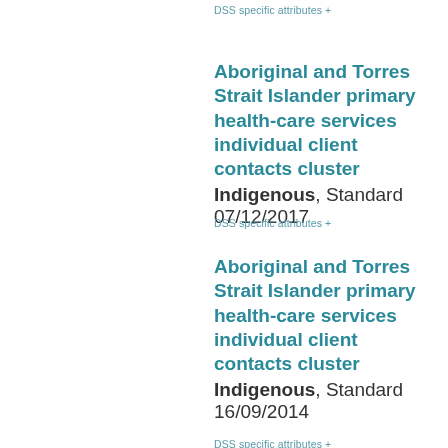DSS specific attributes +
Aboriginal and Torres Strait Islander primary health-care services individual client contacts cluster Indigenous, Standard 07/12/2017
DSS specific attributes +
Aboriginal and Torres Strait Islander primary health-care services individual client contacts cluster Indigenous, Standard 16/09/2014
DSS specific attributes +